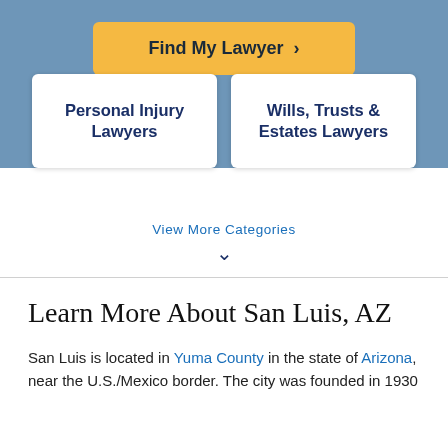[Figure (screenshot): Orange 'Find My Lawyer >' button on blue background header]
Personal Injury Lawyers
Wills, Trusts & Estates Lawyers
View More Categories
Learn More About San Luis, AZ
San Luis is located in Yuma County in the state of Arizona, near the U.S./Mexico border. The city was founded in 1930